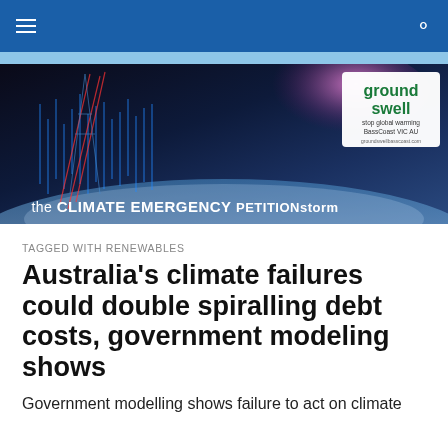[Figure (screenshot): Dark blue navigation bar with hamburger menu icon on left and search icon on right, followed by a light blue bar]
[Figure (illustration): Banner image showing the CLIMATE EMERGENCY PETITIONstorm with a space/earth background and digital signal graphics on the left, and a 'groundswell stop global warming BassCoast VIC AU' logo in the top right corner]
TAGGED WITH RENEWABLES
Australia's climate failures could double spiralling debt costs, government modeling shows
Government modelling shows failure to act on climate